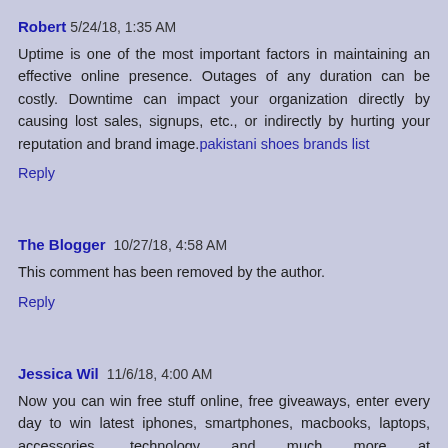Robert 5/24/18, 1:35 AM
Uptime is one of the most important factors in maintaining an effective online presence. Outages of any duration can be costly. Downtime can impact your organization directly by causing lost sales, signups, etc., or indirectly by hurting your reputation and brand image. pakistani shoes brands list
Reply
The Blogger 10/27/18, 4:58 AM
This comment has been removed by the author.
Reply
Jessica Wil 11/6/18, 4:00 AM
Now you can win free stuff online, free giveaways, enter every day to win latest iphones, smartphones, macbooks, laptops, accessories, technology and much more at https://lifesgivesyrus.com/